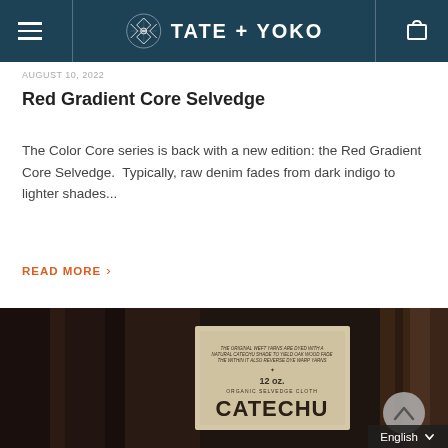TATE + YOKO
AUGUST 10, 2022
Red Gradient Core Selvedge
The Color Core series is back with a new edition: the Red Gradient Core Selvedge.  Typically, raw denim fades from dark indigo to lighter shades...
READ MORE
[Figure (photo): Dark brown/black raw selvedge denim fabric close-up with a label showing 'CATECHU' brand and '12 oz Organic Selvedge Cloth' text]
English